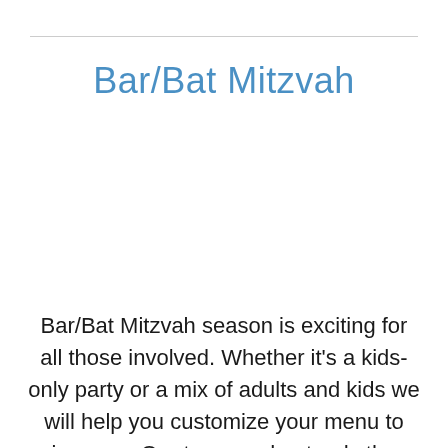Bar/Bat Mitzvah
Bar/Bat Mitzvah season is exciting for all those involved. Whether it's a kids-only party or a mix of adults and kids we will help you customize your menu to impress. Our team understands the delicate balance between